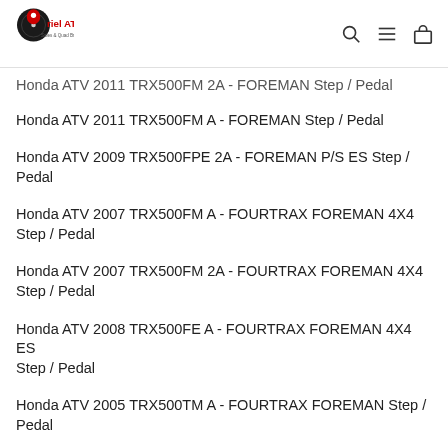Iriel ATV Sales & Quad Breakers
Honda ATV 2011 TRX500FM 2A - FOREMAN Step / Pedal
Honda ATV 2011 TRX500FM A - FOREMAN Step / Pedal
Honda ATV 2009 TRX500FPE 2A - FOREMAN P/S ES Step / Pedal
Honda ATV 2007 TRX500FM A - FOURTRAX FOREMAN 4X4 Step / Pedal
Honda ATV 2007 TRX500FM 2A - FOURTRAX FOREMAN 4X4 Step / Pedal
Honda ATV 2008 TRX500FE A - FOURTRAX FOREMAN 4X4 ES Step / Pedal
Honda ATV 2005 TRX500TM A - FOURTRAX FOREMAN Step / Pedal